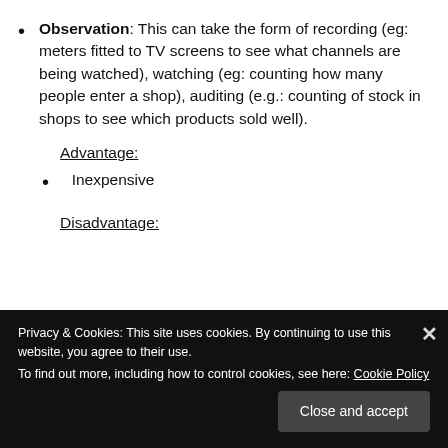Observation: This can take the form of recording (eg: meters fitted to TV screens to see what channels are being watched), watching (eg: counting how many people enter a shop), auditing (e.g.: counting of stock in shops to see which products sold well).
Advantage:
Inexpensive
Disadvantage:
Privacy & Cookies: This site uses cookies. By continuing to use this website, you agree to their use. To find out more, including how to control cookies, see here: Cookie Policy